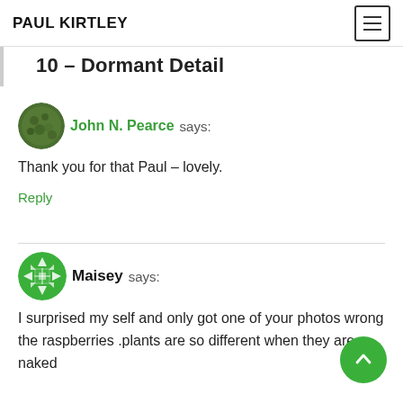PAUL KIRTLEY
10 – Dormant Detail
John N. Pearce says:
Thank you for that Paul – lovely.
Reply
Maisey says:
I surprised my self and only got one of your photos wrong the raspberries .plants are so different when they are naked